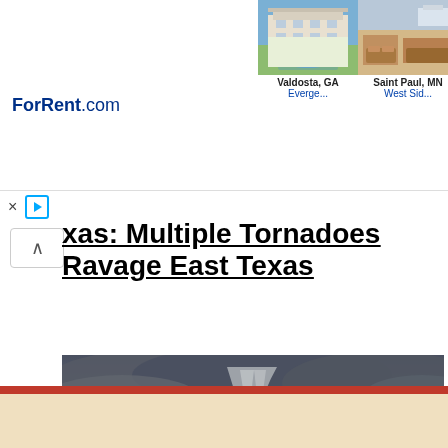[Figure (screenshot): ForRent.com advertisement banner showing rental properties in Valdosta GA, Saint Paul MN, and a third location]
xas: Multiple Tornadoes Ravage East Texas
[Figure (photo): Photograph of a large tornado touching down over a green field under dark storm clouds]